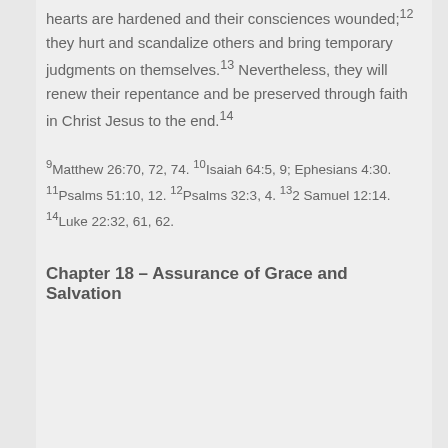hearts are hardened and their consciences wounded;12 they hurt and scandalize others and bring temporary judgments on themselves.13 Nevertheless, they will renew their repentance and be preserved through faith in Christ Jesus to the end.14
9Matthew 26:70, 72, 74. 10Isaiah 64:5, 9; Ephesians 4:30. 11Psalms 51:10, 12. 12Psalms 32:3, 4. 132 Samuel 12:14. 14Luke 22:32, 61, 62.
Chapter 18 – Assurance of Grace and Salvation